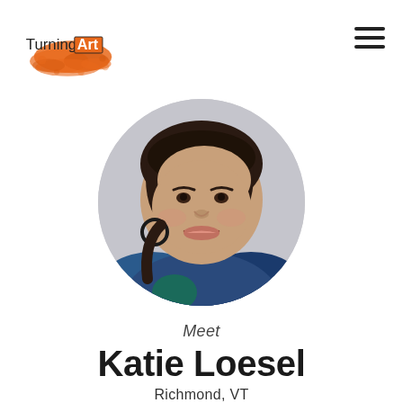[Figure (logo): TurningArt logo with orange paint splatter and text 'Turning Art' with 'Art' in an orange box]
[Figure (photo): Circular profile photo of Katie Loesel, a young woman with dark hair, smiling, wearing a blue top and circular earrings]
Meet
Katie Loesel
Richmond, VT